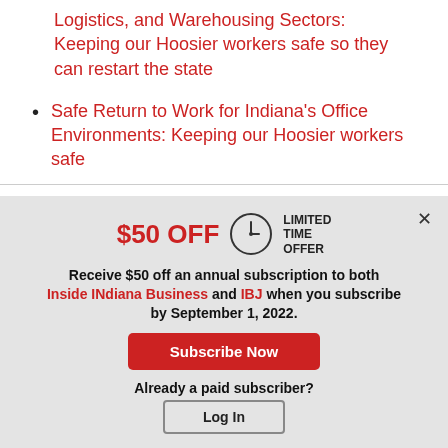Logistics, and Warehousing Sectors: Keeping our Hoosier workers safe so they can restart the state
Safe Return to Work for Indiana's Office Environments: Keeping our Hoosier workers safe
[Figure (infographic): Subscription modal popup with $50 OFF limited time offer. Includes clock icon, subscription text mentioning Inside INdiana Business and IBJ, Subscribe Now button, and Log In button.]